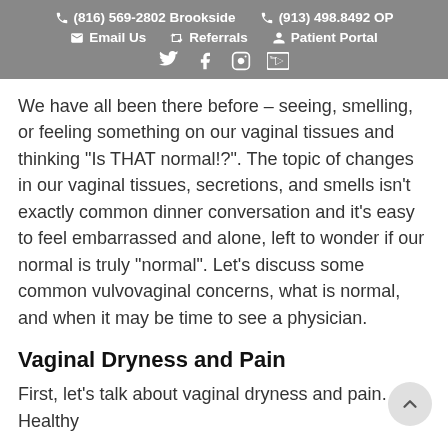(816) 569-2802 Brookside  (913) 498.8492 OP  Email Us  Referrals  Patient Portal
We have all been there before – seeing, smelling, or feeling something on our vaginal tissues and thinking "Is THAT normal!?". The topic of changes in our vaginal tissues, secretions, and smells isn't exactly common dinner conversation and it's easy to feel embarrassed and alone, left to wonder if our normal is truly "normal". Let's discuss some common vulvovaginal concerns, what is normal, and when it may be time to see a physician.
Vaginal Dryness and Pain
First, let's talk about vaginal dryness and pain. Healthy